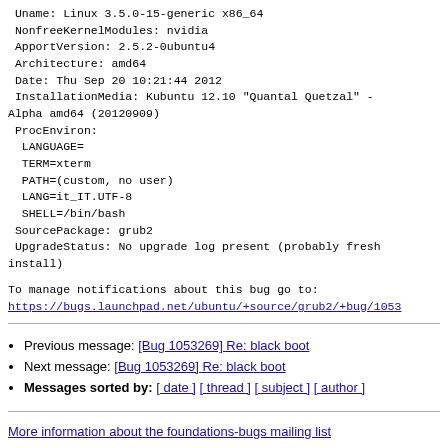Uname: Linux 3.5.0-15-generic x86_64
 NonfreeKernelModules: nvidia
 ApportVersion: 2.5.2-0ubuntu4
 Architecture: amd64
 Date: Thu Sep 20 10:21:44 2012
 InstallationMedia: Kubuntu 12.10 "Quantal Quetzal" - Alpha amd64 (20120909)
 ProcEnviron:
  LANGUAGE=
  TERM=xterm
  PATH=(custom, no user)
  LANG=it_IT.UTF-8
  SHELL=/bin/bash
 SourcePackage: grub2
 UpgradeStatus: No upgrade log present (probably fresh install)
To manage notifications about this bug go to:
https://bugs.launchpad.net/ubuntu/+source/grub2/+bug/1053
Previous message: [Bug 1053269] Re: black boot
Next message: [Bug 1053269] Re: black boot
Messages sorted by: [ date ] [ thread ] [ subject ] [ author ]
More information about the foundations-bugs mailing list